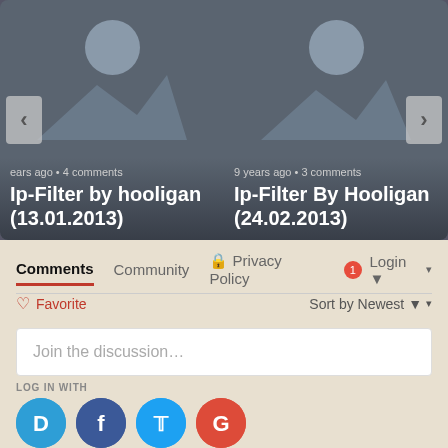[Figure (screenshot): Carousel showing two IP filter entries: 'Ip-Filter by hooligan (13.01.2013)' with 4 comments, and 'Ip-Filter By Hooligan (24.02.2013)' with 3 comments, both 9 years ago. Navigation arrows on sides.]
Comments  Community  Privacy Policy  1  Login
♡ Favorite
Sort by Newest
Join the discussion…
LOG IN WITH
[Figure (infographic): Social login icons: Disqus (D), Facebook (f), Twitter (bird), Google (G)]